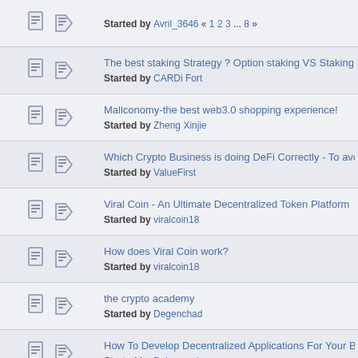Started by Avril_3646 « 1 2 3 ... 8 »
The best staking Strategy ? Option staking VS Staking based pool: Started by CARDi Fort
Mallconomy-the best web3.0 shopping experience! Started by Zheng Xinjie
Which Crypto Business is doing DeFi Correctly - To avoid Failing Started by ValueFirst
Viral Coin - An Ultimate Decentralized Token Platform Started by viralcoin18
How does Viral Coin work? Started by viralcoin18
the crypto academy Started by Degenchad
How To Develop Decentralized Applications For Your Business? Started by Daisypearl
What Is Legendary Racers? Here's All You Need To Know Started by legendaryracers
Why is Viral the Supreme Fairness Token?